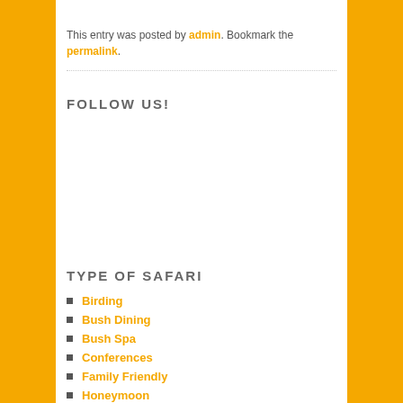This entry was posted by admin. Bookmark the permalink.
FOLLOW US!
TYPE OF SAFARI
Birding
Bush Dining
Bush Spa
Conferences
Family Friendly
Honeymoon